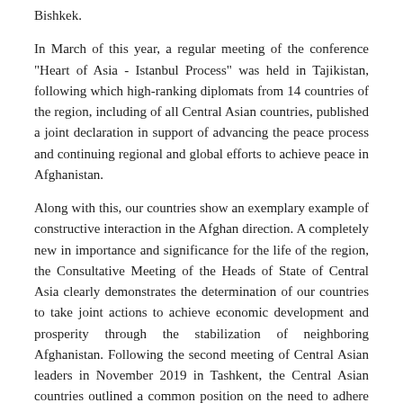Bishkek.
In March of this year, a regular meeting of the conference "Heart of Asia - Istanbul Process" was held in Tajikistan, following which high-ranking diplomats from 14 countries of the region, including of all Central Asian countries, published a joint declaration in support of advancing the peace process and continuing regional and global efforts to achieve peace in Afghanistan.
Along with this, our countries show an exemplary example of constructive interaction in the Afghan direction. A completely new in importance and significance for the life of the region, the Consultative Meeting of the Heads of State of Central Asia clearly demonstrates the determination of our countries to take joint actions to achieve economic development and prosperity through the stabilization of neighboring Afghanistan. Following the second meeting of Central Asian leaders in November 2019 in Tashkent, the Central Asian countries outlined a common position on the need to adhere to the key principles of a peaceful settlement - renunciation of violence, ceasefire, demonstration of readiness for dialogue and compromise.